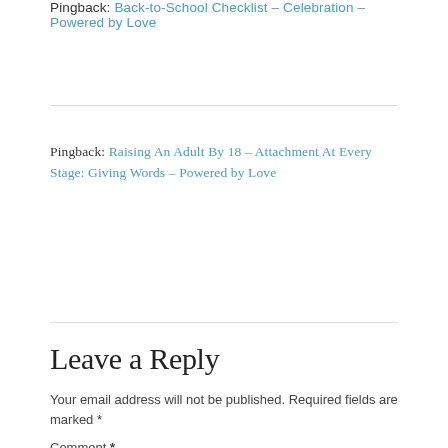Pingback: Back-to-School Checklist – Celebration – Powered by Love
Pingback: Raising An Adult By 18 – Attachment At Every Stage: Giving Words – Powered by Love
Leave a Reply
Your email address will not be published. Required fields are marked *
Comment *